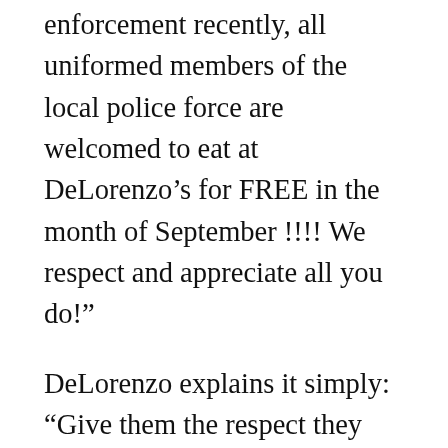enforcement recently, all uniformed members of the local police force are welcomed to eat at DeLorenzo’s for FREE in the month of September !!!! We respect and appreciate all you do!”
DeLorenzo explains it simply: “Give them the respect they deserve. They’re laying their lives on the line every day. They deserve respect.” He went on to say that he was first convicted to act after another policeman, Deputy Darren Goforth, was ambushed and executed in cold blood. Deputy Goforth was pumping gas when the murderer approached him from behind, firing multiple shots. He